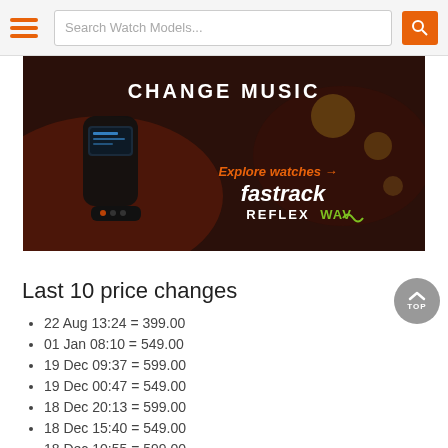Search Watch Models...
[Figure (photo): Fastrack Reflex WAV smartband advertisement banner with text 'CHANGE MUSIC' and 'Explore watches - fastrack REFLEX WAV' overlaid on a dark background with the wearable device]
Last 10 price changes
22 Aug 13:24 = 399.00
01 Jan 08:10 = 549.00
19 Dec 09:37 = 599.00
19 Dec 00:47 = 549.00
18 Dec 20:13 = 599.00
18 Dec 15:40 = 549.00
18 Dec 10:55 = 599.00